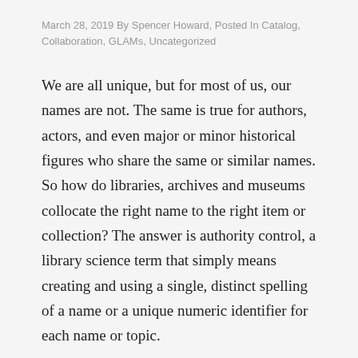March 28, 2019 By Spencer Howard, Posted In Catalog, Collaboration, GLAMs, Uncategorized
We are all unique, but for most of us, our names are not. The same is true for authors, actors, and even major or minor historical figures who share the same or similar names. So how do libraries, archives and museums collocate the right name to the right item or collection? The answer is authority control, a library science term that simply means creating and using a single, distinct spelling of a name or a unique numeric identifier for each name or topic.
The Library of Congress Authorities provides an authoritative list of names, events, geographic locations and organizations and is used by most institutions as the international standard. The individual record for a person, place, or organization is